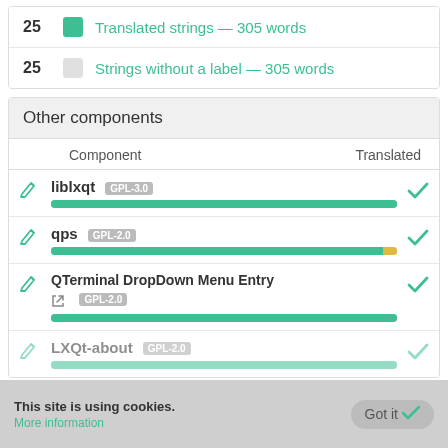25 Translated strings — 305 words
25 Strings without a label — 305 words
Other components
| Component | Translated |
| --- | --- |
| liblxqt GPL-3.0 | ✓ |
| qps GPL-2.0 | ✓ |
| QTerminal DropDown Menu Entry © GPL-2.0 | ✓ |
| LXQt-about GPL-2.0 | ✓ |
This site is using cookies. More information